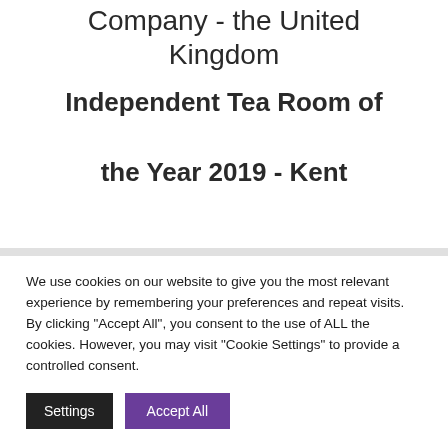Company - the United Kingdom
Independent Tea Room of the Year 2019 - Kent
We use cookies on our website to give you the most relevant experience by remembering your preferences and repeat visits. By clicking "Accept All", you consent to the use of ALL the cookies. However, you may visit "Cookie Settings" to provide a controlled consent.